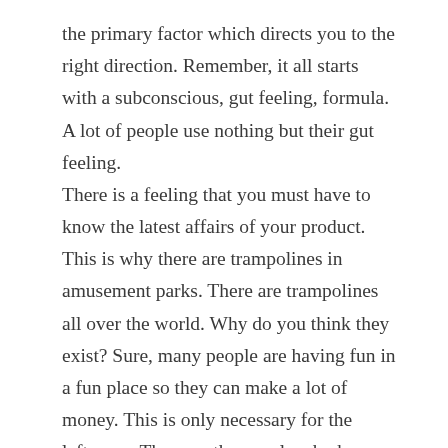the primary factor which directs you to the right direction. Remember, it all starts with a subconscious, gut feeling, formula. A lot of people use nothing but their gut feeling.
There is a feeling that you must have to know the latest affairs of your product. This is why there are trampolines in amusement parks. There are trampolines all over the world. Why do you think they exist? Sure, many people are having fun in a fun place so they can make a lot of money. This is only necessary for the leftovers. They are the people who have a thousand dollars just for the sake of having fun in a fun place.
However, to those who are interested in making money, there are many fun places you can go, and there is a great strategy to create cash. A business